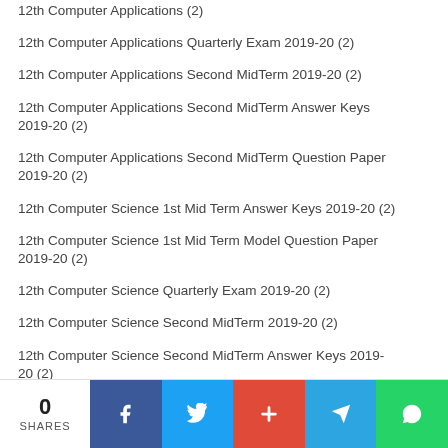12th Computer Applications (2)
12th Computer Applications Quarterly Exam 2019-20 (2)
12th Computer Applications Second MidTerm 2019-20 (2)
12th Computer Applications Second MidTerm Answer Keys 2019-20 (2)
12th Computer Applications Second MidTerm Question Paper 2019-20 (2)
12th Computer Science 1st Mid Term Answer Keys 2019-20 (2)
12th Computer Science 1st Mid Term Model Question Paper 2019-20 (2)
12th Computer Science Quarterly Exam 2019-20 (2)
12th Computer Science Second MidTerm 2019-20 (2)
12th Computer Science Second MidTerm Answer Keys 2019-20 (2)
0 SHARES | Facebook | Twitter | Google+ | Telegram | WhatsApp